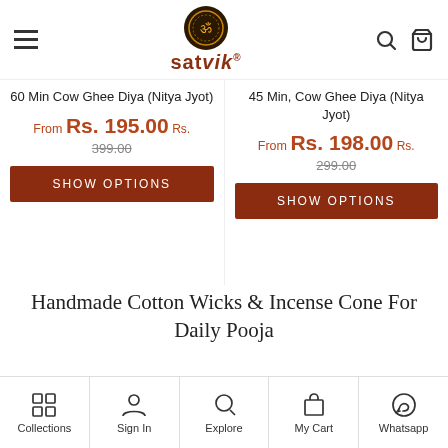satvik (logo and navigation header)
60 Min Cow Ghee Diya (Nitya Jyot)
From Rs. 195.00 Rs. 399.00
45 Min, Cow Ghee Diya (Nitya Jyot)
From Rs. 198.00 Rs. 299.00
Handmade Cotton Wicks & Incense Cone For Daily Pooja
Pure Cotton Wicks
Collections | Sign In | Explore | My Cart | Whatsapp